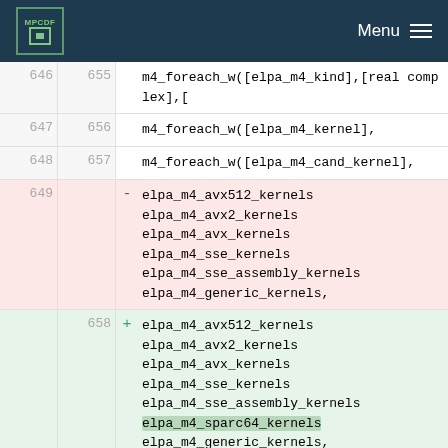MPCDF Menu
646 655 m4_foreach_w([elpa_m4_kind],[real complex],[
647 656 m4_foreach_w([elpa_m4_kernel],
648 657 m4_foreach_w([elpa_m4_cand_kernel],
649 - elpa_m4_avx512_kernels elpa_m4_avx2_kernels elpa_m4_avx_kernels elpa_m4_sse_kernels elpa_m4_sse_assembly_kernels elpa_m4_generic_kernels,
658 + elpa_m4_avx512_kernels elpa_m4_avx2_kernels elpa_m4_avx_kernels elpa_m4_sse_kernels elpa_m4_sse_assembly_kernels elpa_m4_sparc64_kernels elpa_m4_generic_kernels,